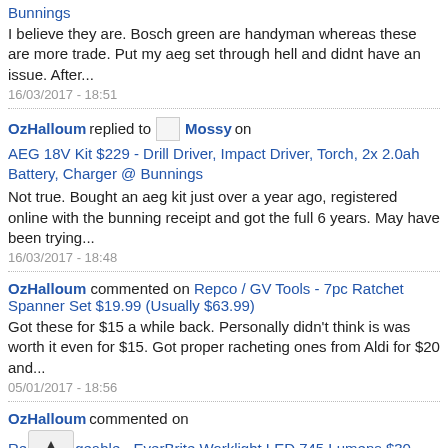Bunnings
I believe they are. Bosch green are handyman whereas these are more trade. Put my aeg set through hell and didnt have an issue. After...
16/03/2017 - 18:51
OzHalloum replied to Mossy on AEG 18V Kit $229 - Drill Driver, Impact Driver, Torch, 2x 2.0ah Battery, Charger @ Bunnings
Not true. Bought an aeg kit just over a year ago, registered online with the bunning receipt and got the full 6 years. May have been trying...
16/03/2017 - 18:48
OzHalloum commented on Repco / GV Tools - 7pc Ratchet Spanner Set $19.99 (Usually $63.99)
Got these for $15 a while back. Personally didn't think is was worth it even for $15. Got proper racheting ones from Aldi for $20 and...
05/01/2017 - 18:56
OzHalloum commented on Rechargeable - EverBrite Worklight LED 745 Lumens $30 Delivered (Was $99.99) @ Supercheap